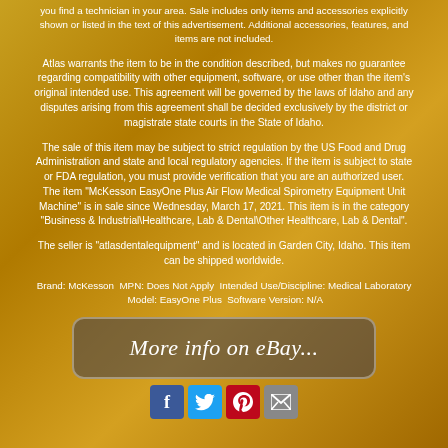you find a technician in your area. Sale includes only items and accessories explicitly shown or listed in the text of this advertisement. Additional accessories, features, and items are not included.
Atlas warrants the item to be in the condition described, but makes no guarantee regarding compatibility with other equipment, software, or use other than the item's original intended use. This agreement will be governed by the laws of Idaho and any disputes arising from this agreement shall be decided exclusively by the district or magistrate state courts in the State of Idaho.
The sale of this item may be subject to strict regulation by the US Food and Drug Administration and state and local regulatory agencies. If the item is subject to state or FDA regulation, you must provide verification that you are an authorized user. The item "McKesson EasyOne Plus Air Flow Medical Spirometry Equipment Unit Machine" is in sale since Wednesday, March 17, 2021. This item is in the category "Business & Industrial\Healthcare, Lab & Dental\Other Healthcare, Lab & Dental".
The seller is "atlasdentalequipment" and is located in Garden City, Idaho. This item can be shipped worldwide.
Brand: McKesson MPN: Does Not Apply Intended Use/Discipline: Medical Laboratory Model: EasyOne Plus Software Version: N/A
[Figure (other): eBay 'More info on eBay...' button link banner]
[Figure (other): Social media sharing icons: Facebook, Twitter, Pinterest, Email]